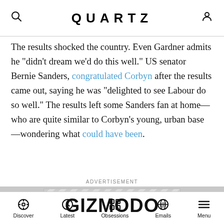QUARTZ
The results shocked the country. Even Gardner admits he “didn’t dream we’d do this well.” US senator Bernie Sanders, congratulated Corbyn after the results came out, saying he was “delighted to see Labour do so well.” The results left some Sanders fan at home—who are quite similar to Corbyn’s young, urban base—wondering what could have been.
ADVERTISEMENT
[Figure (other): Advertisement banner showing GIZMODO logo on a grey diagonal-striped background]
Discover | Latest | Obsessions | Emails | Menu